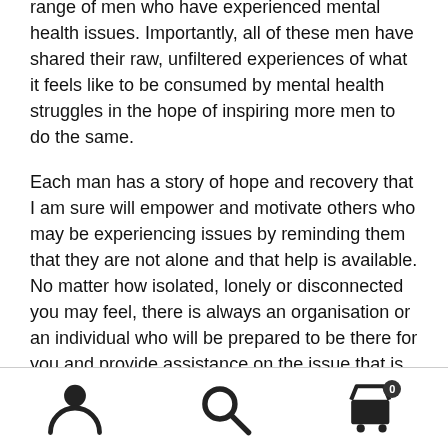range of men who have experienced mental health issues. Importantly, all of these men have shared their raw, unfiltered experiences of what it feels like to be consumed by mental health struggles in the hope of inspiring more men to do the same.
Each man has a story of hope and recovery that I am sure will empower and motivate others who may be experiencing issues by reminding them that they are not alone and that help is available. No matter how isolated, lonely or disconnected you may feel, there is always an organisation or an individual who will be prepared to be there for you and provide assistance on the issue that is impacting on your wellbeing.
[Figure (other): App navigation footer bar with three icons: user/person icon, search icon, and shopping cart icon with badge showing 0]